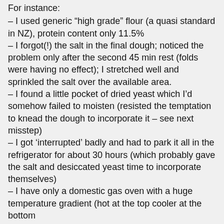For instance:
– I used generic “high grade” flour (a quasi standard in NZ), protein content only 11.5%
– I forgot(!) the salt in the final dough; noticed the problem only after the second 45 min rest (folds were having no effect); I stretched well and sprinkled the salt over the available area.
– I found a little pocket of dried yeast which I’d somehow failed to moisten (resisted the temptation to knead the dough to incorporate it – see next misstep)
– I got ‘interrupted’ badly and had to park it all in the refrigerator for about 30 hours (which probably gave the salt and desiccated yeast time to incorporate themselves)
– I have only a domestic gas oven with a huge temperature gradient (hot at the top cooler at the bottom